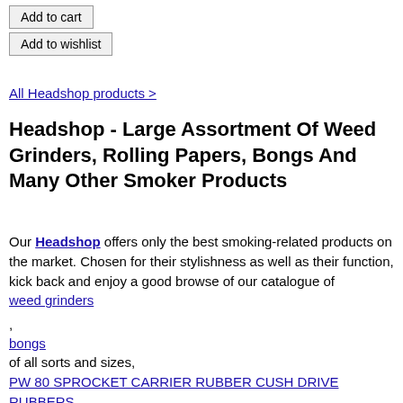Add to cart
Add to wishlist
All Headshop products >
Headshop - Large Assortment Of Weed Grinders, Rolling Papers, Bongs And Many Other Smoker Products
Our Headshop offers only the best smoking-related products on the market. Chosen for their stylishness as well as their function, kick back and enjoy a good browse of our catalogue of weed grinders , bongs of all sorts and sizes, PW 80 SPROCKET CARRIER RUBBER CUSH DRIVE RUBBERS , scales , stash gear , RAW